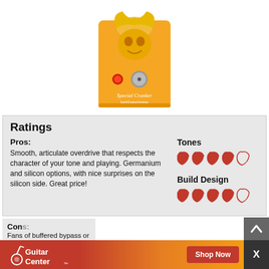[Figure (photo): EarthQuaker Devices Special Cranker guitar pedal, orange body with yellow flame/bird design, red LED and silver knob]
Ratings
Pros:
Smooth, articulate overdrive that respects the character of your tone and playing. Germanium and silicon options, with nice surprises on the silicon side. Great price!
Tones
[Figure (infographic): Tones rating: 4 out of 5 guitar pick icons filled red]
Build Design
[Figure (infographic): Build Design rating: 4 out of 5 guitar pick icons filled red]
Cons:
Fans of buffered bypass or true bypass circuitry may be disappointed; it's quiet...
[Figure (advertisement): Guitar Center advertisement with logo, acoustic guitar image, and Shop Now button]